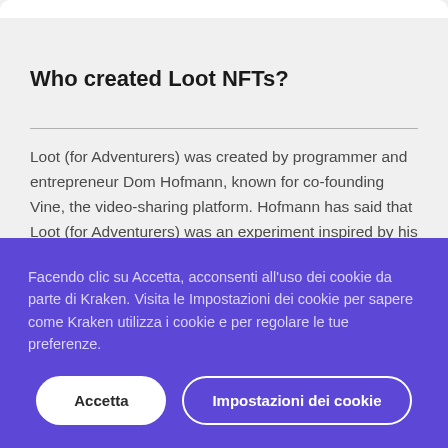Who created Loot NFTs?
Loot (for Adventurers) was created by programmer and entrepreneur Dom Hofmann, known for co-founding Vine, the video-sharing platform. Hofmann has said that Loot (for Adventurers) was an experiment inspired by his desire for a sci-fi/fantasy game that would be portable across gaming realms. Prior to Loot, Hofmann created the sci-fantasy pixel-
Facendo clic su Accetta, acconsenti all'uso dei cookie da parte di Kraken. Visita le Impostazioni dei cookie per sapere come Kraken utilizza i cookie e per regolare le tue preferenze.
Accetta
Impostazioni dei cookie